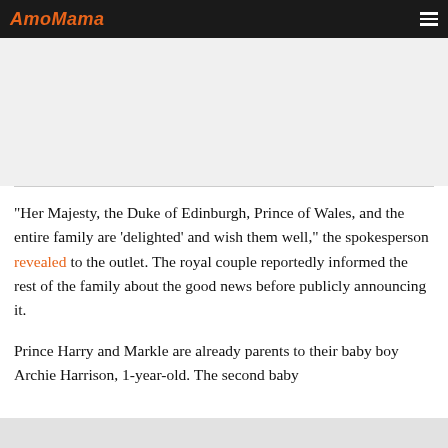AmoMama
"Her Majesty, the Duke of Edinburgh, Prince of Wales, and the entire family are 'delighted' and wish them well," the spokesperson revealed to the outlet. The royal couple reportedly informed the rest of the family about the good news before publicly announcing it.
Prince Harry and Markle are already parents to their baby boy Archie Harrison, 1-year-old. The second baby